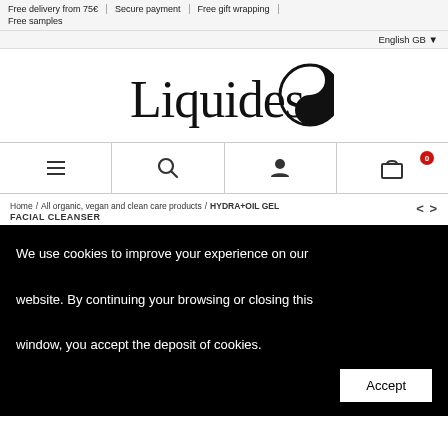Free delivery from 75€ | Secure payment | Free gift wrapping | Free samples
English GB
[Figure (logo): Liquides brand logo with stylized yin-yang circle]
[Figure (infographic): Navigation bar with hamburger menu, search, user account, and shopping cart (0 items) icons]
Home / All organic, vegan and clean care products / HYDRA+OIL GEL FACIAL CLEANSER
We use cookies to improve your experience on our website. By continuing your browsing or closing this window, you accept the deposit of cookies.